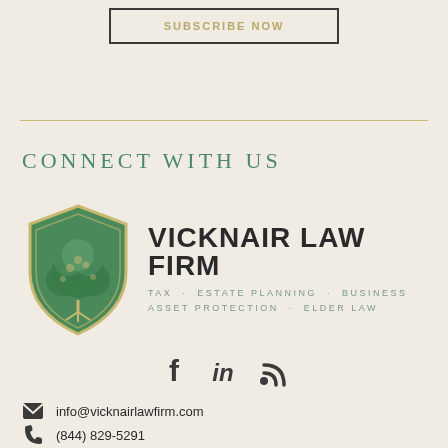SUBSCRIBE NOW
CONNECT WITH US
[Figure (logo): Vicknair Law Firm logo: green shield with tree, firm name, and tagline TAX · ESTATE PLANNING · BUSINESS ASSET PROTECTION · ELDER LAW]
[Figure (infographic): Social media icons: Facebook, LinkedIn, RSS feed]
info@vicknairlawfirm.com
(844) 829-5291